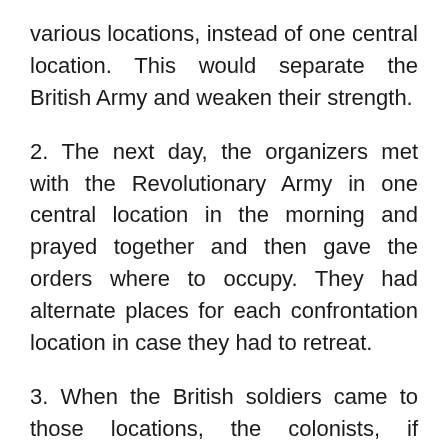various locations, instead of one central location. This would separate the British Army and weaken their strength.
2. The next day, the organizers met with the Revolutionary Army in one central location in the morning and prayed together and then gave the orders where to occupy. They had alternate places for each confrontation location in case they had to retreat.
3. When the British soldiers came to those locations, the colonists, if overpowered, left if too many colonists were wounded or killed. They could never beat back the British by yelling and trying to scare the British off for